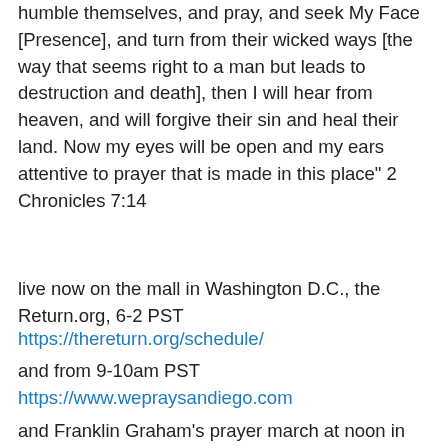humble themselves, and pray, and seek My Face [Presence], and turn from their wicked ways [the way that seems right to a man but leads to destruction and death], then I will hear from heaven, and will forgive their sin and heal their land. Now my eyes will be open and my ears attentive to prayer that is made in this place" 2 Chronicles 7:14
live now on the mall in Washington D.C., the Return.org, 6-2 PST
https://thereturn.org/schedule/
and from 9-10am PST
https://www.wepraysandiego.com
and Franklin Graham's prayer march at noon in Washington D.C. at noon EST: